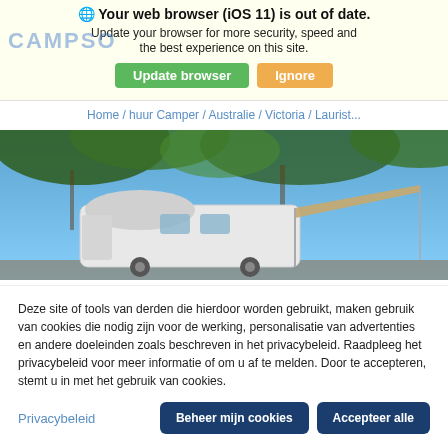Your web browser (iOS 11) is out of date. Update your browser for more security, speed and the best experience on this site.
Home / huur Camper / Australie / Victoria / Laurist...
[Figure (photo): Photo of a white camper van with an extended awning, parked under trees against a blue sky.]
Deze site of tools van derden die hierdoor worden gebruikt, maken gebruik van cookies die nodig zijn voor de werking, personalisatie van advertenties en andere doeleinden zoals beschreven in het privacybeleid. Raadpleeg het privacybeleid voor meer informatie of om u af te melden. Door te accepteren, stemt u in met het gebruik van cookies.
Privacybeleid  Beheer mijn cookies  Accepteer alle